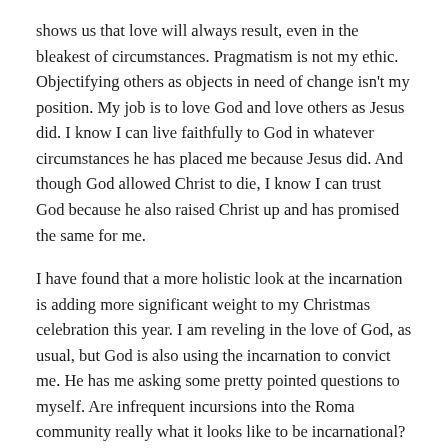shows us that love will always result, even in the bleakest of circumstances. Pragmatism is not my ethic. Objectifying others as objects in need of change isn't my position. My job is to love God and love others as Jesus did. I know I can live faithfully to God in whatever circumstances he has placed me because Jesus did. And though God allowed Christ to die, I know I can trust God because he also raised Christ up and has promised the same for me.
I have found that a more holistic look at the incarnation is adding more significant weight to my Christmas celebration this year. I am reveling in the love of God, as usual, but God is also using the incarnation to convict me. He has me asking some pretty pointed questions to myself. Are infrequent incursions into the Roma community really what it looks like to be incarnational? How much of my time spent with the Roma objectifies them as things I seek to change rather than as images of God whom I serve out of love and obedience? If I truly believed in God's power to change the heart even through me, an imperfect vessel, wouldn't I be a lot more optimistic about the likelihood of God's spirit moving through the Roma community?
As we dwell on the incarnation this Christmas season, let's reflect not